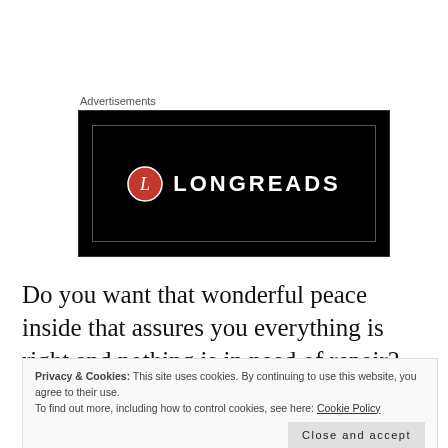Advertisements
[Figure (logo): Longreads advertisement banner — black background with inner border, red circle L logo and LONGREADS text in white]
Do you want that wonderful peace inside that assures you everything is right and nothing is in need of repair? Do you want that inner calmness that makes
Privacy & Cookies: This site uses cookies. By continuing to use this website, you agree to their use.
To find out more, including how to control cookies, see here: Cookie Policy
have got to do something different with your mind.